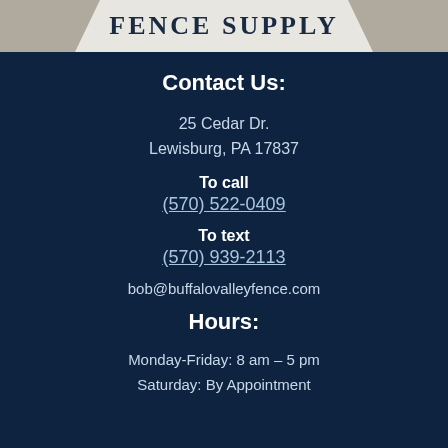FENCE SUPPLY
Contact Us:
25 Cedar Dr.
Lewisburg, PA 17837
To call
(570) 522-0409
To text
(570) 939-2113
bob@buffalovalleyfence.com
Hours:
Monday-Friday: 8 am – 5 pm
Saturday: By Appointment